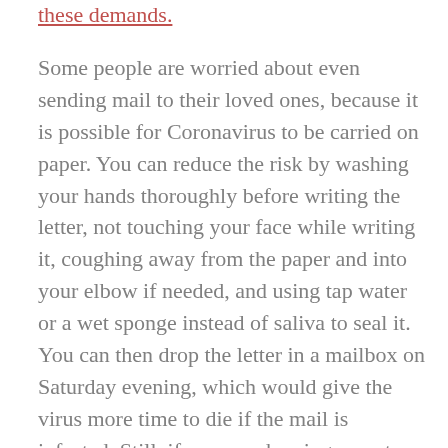these demands.
Some people are worried about even sending mail to their loved ones, because it is possible for Coronavirus to be carried on paper. You can reduce the risk by washing your hands thoroughly before writing the letter, not touching your face while writing it, coughing away from the paper and into your elbow if needed, and using tap water or a wet sponge instead of saliva to seal it. You can then drop the letter in a mailbox on Saturday evening, which would give the virus more time to die if the mail is infected. Still, if you are showing symptoms of Coronavirus or just don't want to take the risk, you may be able to stay in touch with phone or video calls, or by emails if your loved one is in a system that permits them through Corrlinks, J-Pay, or another program.